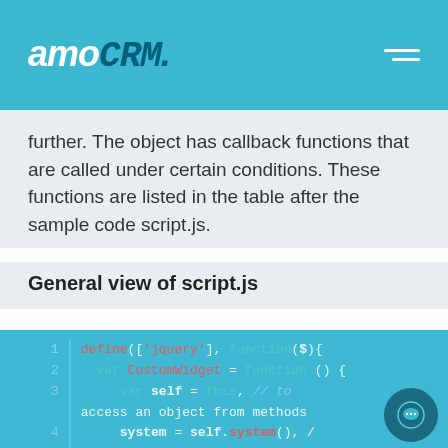amoCRM.
further. The object has callback functions that are called under certain conditions. These functions are listed in the table after the sample code script.js.
General view of script.js
[Figure (screenshot): Code block showing JavaScript: define(['jquery'], function($){ var CustomWidget = function () { var self = this, // to access an object from methods system = self.system(), // This method returns an object with system variables. langs = self.langs; // Localization object with data from]